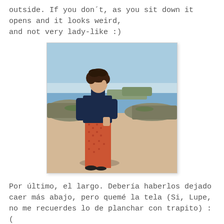outside. If you don´t, as you sit down it opens and it looks weird, and not very lady-like :)
[Figure (photo): A woman with curly dark hair stands on a rocky beach, wearing a navy turtleneck sweater and patterned orange/red wide-leg trousers, looking to the side. Sunny sky and sea in the background.]
Por último, el largo. Debería haberlos dejado caer más abajo, pero quemé la tela (Si, Lupe, no me recuerdes lo de planchar con trapito) :(